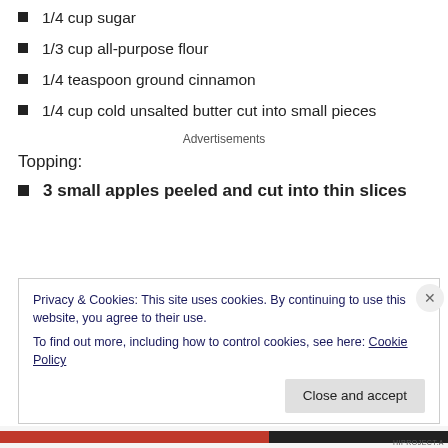1/4 cup sugar
1/3 cup all-purpose flour
1/4 teaspoon ground cinnamon
1/4 cup cold unsalted butter cut into small pieces
Advertisements
Topping:
3 small apples peeled and cut into thin slices
Privacy & Cookies: This site uses cookies. By continuing to use this website, you agree to their use.
To find out more, including how to control cookies, see here: Cookie Policy